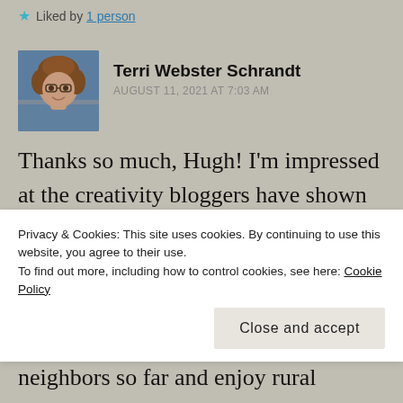Liked by 1 person
Terri Webster Schrandt
AUGUST 11, 2021 AT 7:03 AM
[Figure (photo): Avatar photo of Terri Webster Schrandt, a woman with curly hair and glasses]
Thanks so much, Hugh! I’m impressed at the creativity bloggers have shown with this challenge. A little bird told me
Privacy & Cookies: This site uses cookies. By continuing to use this website, you agree to their use.
To find out more, including how to control cookies, see here: Cookie Policy
Close and accept
neighbors so far and enjoy rural